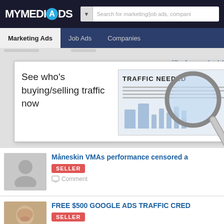[Figure (screenshot): MyMediaAds website header with logo and search bar]
Marketing Ads | Job Ads | Companies
[Figure (screenshot): Ad banner showing 'See who's buying/selling traffic now' with magnifying glass over TRAFFIC NEEDED document]
Måneskin VMAs performance censored a... SELLER Comment
FREE $500 GOOGLE ADS TRAFFIC CRED... SELLER Comment
Succeed Online with This FREE & Proven... SELLER Comment